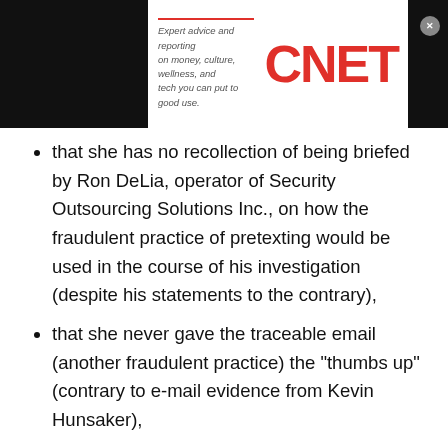[Figure (logo): CNET logo with tagline: Expert advice and reporting on money, culture, wellness, and tech you can put to good use.]
that she has no recollection of being briefed by Ron DeLia, operator of Security Outsourcing Solutions Inc., on how the fraudulent practice of pretexting would be used in the course of his investigation (despite his statements to the contrary),
that she never gave the traceable email (another fraudulent practice) the "thumbs up" (contrary to e-mail evidence from Kevin Hunsaker),
and then with Inslee getting Dunn to testify:
that she overlooked a bulletpoint in a presentation addressed specifically to her that